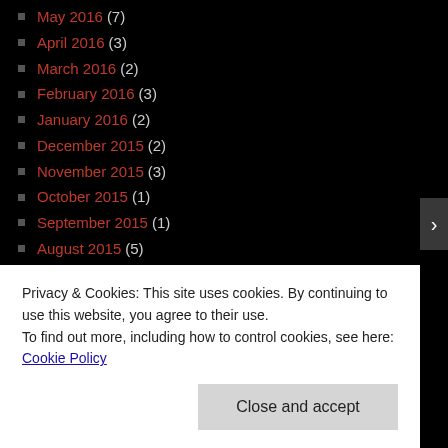May 2016 (7)
April 2016 (3)
March 2016 (2)
February 2016 (3)
January 2016 (2)
December 2015 (2)
November 2015 (3)
October 2015 (1)
September 2015 (1)
August 2015 (5)
July 2015 (3)
June 2015 (4)
May 2015 (5)
April 2015 (2)
March 2015 (7)
Privacy & Cookies: This site uses cookies. By continuing to use this website, you agree to their use. To find out more, including how to control cookies, see here: Cookie Policy